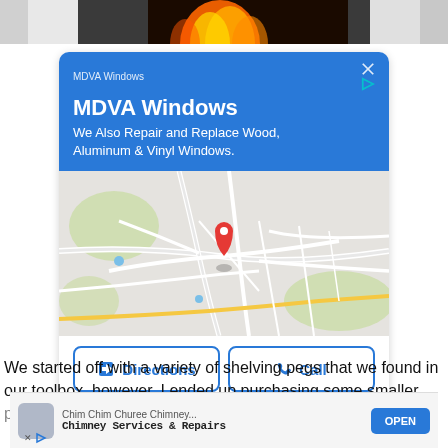[Figure (photo): Top strip showing a fireplace with flames, flanked by white textured surfaces on left and right.]
[Figure (screenshot): Google ad card for MDVA Windows. Blue header with company name, title 'MDVA Windows', subtitle 'We Also Repair and Replace Wood, Aluminum & Vinyl Windows.' Below is a Google Maps view with a red pin marker. Two buttons: 'Directions' and 'Call'.]
We started off with a variety of shelving pegs that we found in our toolbox, however, I ended up purchasing some smaller pegs th
[Figure (screenshot): Bottom ad banner for 'Chim Chim Churee Chimney...' showing 'Chimney Services & Repairs' with an OPEN button.]